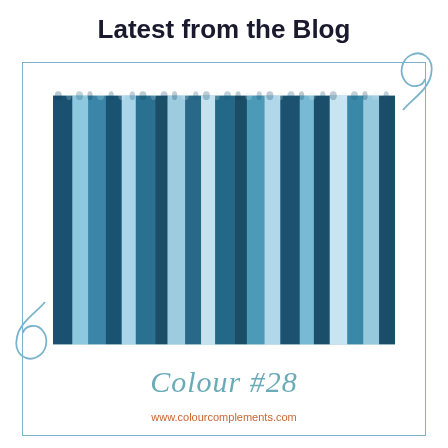Latest from the Blog
[Figure (photo): Close-up photo of knitted/woven fabric in variegated blue tones — dark teal, medium blue, and light blue — showing vertical striping from the yarn coloration.]
Colour #28
www.colourcomplements.com